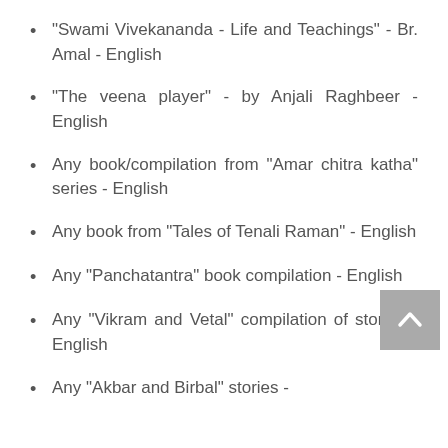"Swami Vivekananda - Life and Teachings" - Br. Amal - English
"The veena player" - by Anjali Raghbeer - English
Any book/compilation from "Amar chitra katha" series - English
Any book from "Tales of Tenali Raman" - English
Any "Panchatantra" book compilation - English
Any "Vikram and Vetal" compilation of stories - English
Any "Akbar and Birbal" stories -